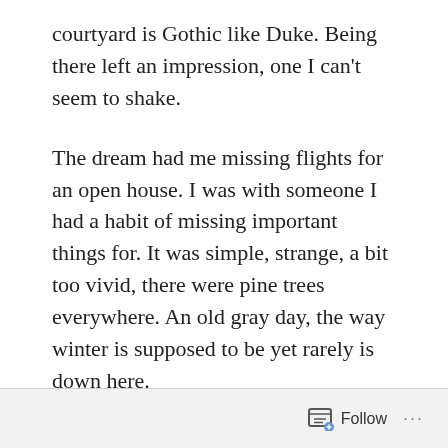courtyard is Gothic like Duke. Being there left an impression, one I can't seem to shake.
The dream had me missing flights for an open house. I was with someone I had a habit of missing important things for. It was simple, strange, a bit too vivid, there were pine trees everywhere. An old gray day, the way winter is supposed to be yet rarely is down here.
I'll be 30 this year. Every day, I'm stepping further into a financial career, and every night I'm writing like a sickness eats me. I live in Cary. Nothing looks the way it did at 18.
Follow ···